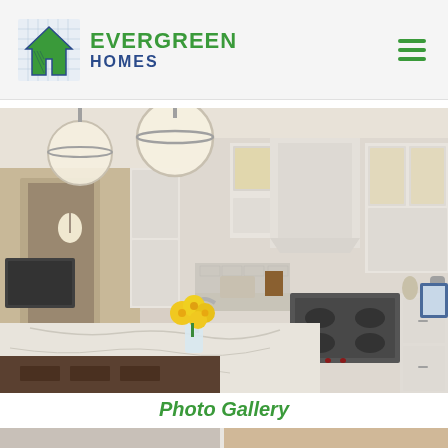Evergreen Homes
[Figure (photo): Interior photo of a luxury kitchen with white cabinetry, marble countertops, a large kitchen island with a sink, yellow flowers in a vase, globe pendant lights, a professional stainless range with range hood, backsplash tile, and glass-front upper cabinets.]
Photo Gallery
[Figure (photo): Partial view of additional thumbnail photos at the bottom of the page.]